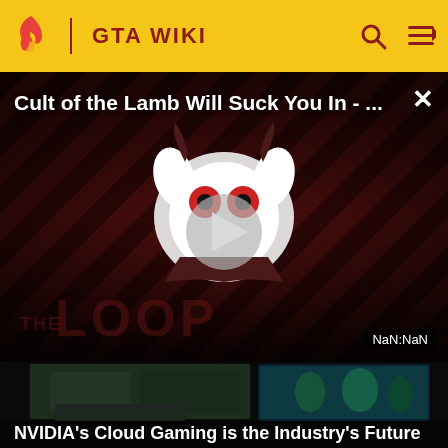GTA WIKI
[Figure (screenshot): Video player showing 'Cult of the Lamb Will Suck You In - ...' with animated lamb character on diagonal striped red/brown background, play button overlay, THE LOOP branding, NaN:NaN timestamp]
[Figure (screenshot): Gaming monitors display showing dark gaming setup scenes - NVIDIA cloud gaming promotional content]
NVIDIA's Cloud Gaming is the Industry's Future